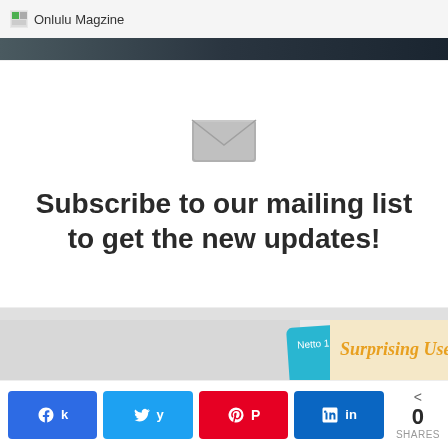Onlulu Magzine
[Figure (screenshot): Dark banner image strip at top of page]
[Figure (infographic): Mail envelope icon, grey, centered]
Subscribe to our mailing list to get the new updates!
[Figure (photo): Article thumbnail showing 'Surprising Uses For TOOTHPASTE' infographic with a toothpaste tube]
[Figure (infographic): Social share bar with Facebook, Twitter, Pinterest, LinkedIn buttons and share count of 0 SHARES]